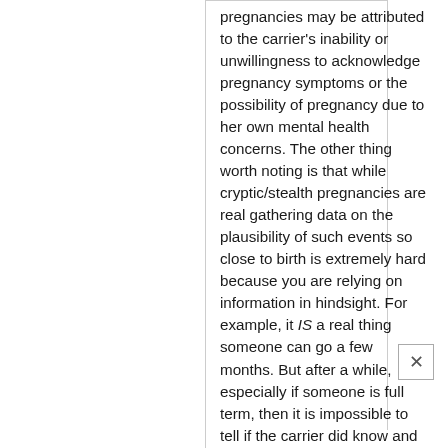pregnancies may be attributed to the carrier's inability or unwillingness to acknowledge pregnancy symptoms or the possibility of pregnancy due to her own mental health concerns. The other thing worth noting is that while cryptic/stealth pregnancies are real gathering data on the plausibility of such events so close to birth is extremely hard because you are relying on information in hindsight. For example, it IS a real thing someone can go a few months. But after a while, especially if someone is full term, then it is impossible to tell if the carrier did know and couldn't say because of safety or other fears, had suspicions but couldn't admit to themselves, etc. Basically, there is no way to prove one way or another as you are relying solely on self report and absence of any data. Cryptic pregnancies rarely (I didn't say